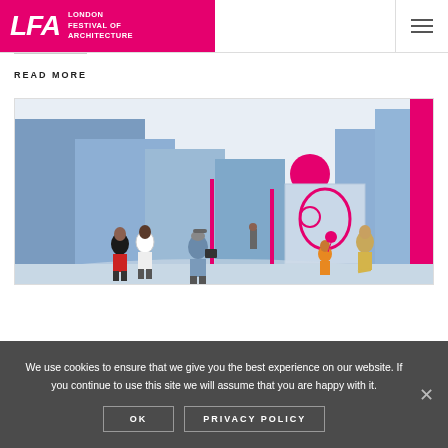[Figure (logo): London Festival of Architecture logo — pink/magenta background with white LFA initials and text]
READ MORE
[Figure (illustration): Architectural illustration showing people walking in an urban space with blue and pink/magenta geometric building forms and street structures]
We use cookies to ensure that we give you the best experience on our website. If you continue to use this site we will assume that you are happy with it.
OK
PRIVACY POLICY